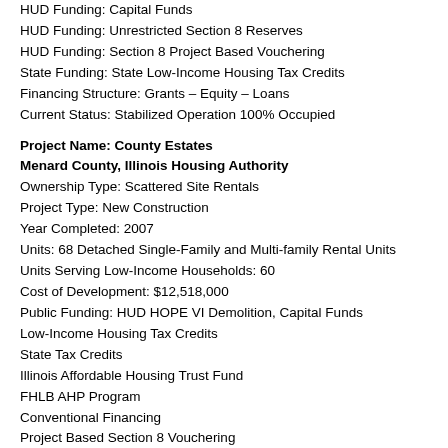HUD Funding: Capital Funds
HUD Funding: Unrestricted Section 8 Reserves
HUD Funding: Section 8 Project Based Vouchering
State Funding: State Low-Income Housing Tax Credits
Financing Structure: Grants – Equity – Loans
Current Status: Stabilized Operation 100% Occupied
Project Name: County Estates
Menard County, Illinois Housing Authority
Ownership Type: Scattered Site Rentals
Project Type: New Construction
Year Completed: 2007
Units: 68 Detached Single-Family and Multi-family Rental Units
Units Serving Low-Income Households: 60
Cost of Development: $12,518,000
Public Funding: HUD HOPE VI Demolition, Capital Funds
Low-Income Housing Tax Credits
State Tax Credits
Illinois Affordable Housing Trust Fund
FHLB AHP Program
Conventional Financing
Project Based Section 8 Vouchering